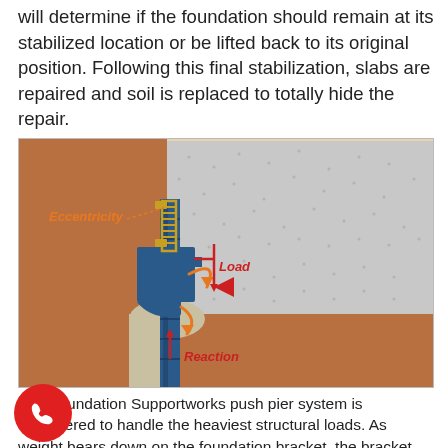will determine if the foundation should remain at its stabilized location or be lifted back to its original position. Following this final stabilization, slabs are repaired and soil is replaced to totally hide the repair.
[Figure (engineering-diagram): Cross-section diagram of a Foundation Supportworks push pier system showing a foundation bracket attached to a concrete foundation wall and footing. Labels indicate Eccentricity (orange italic, with dotted arrow), Load (red italic, with downward arrow), and Reaction (red italic, with upward arrow). The pier shaft extends down into the soil. Orange curved arrows show force directions around the bracket.]
The Foundation Supportworks push pier system is engineered to handle the heaviest structural loads. As weight bears down on the foundation bracket, the bracket exerts great pressure on the pier directly beneath the bracket.